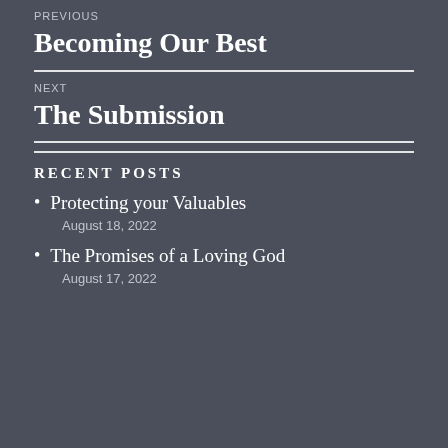PREVIOUS
Becoming Our Best
NEXT
The Submission
RECENT POSTS
Protecting your Valuables
August 18, 2022
The Promises of a Loving God
August 17, 2022